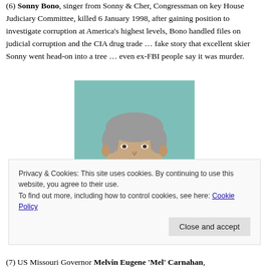(6) Sonny Bono, singer from Sonny & Cher, Congressman on key House Judiciary Committee, killed 6 January 1998, after gaining position to investigate corruption at America's highest levels, Bono handled files on judicial corruption and the CIA drug trade … fake story that excellent skier Sonny went head-on into a tree … even ex-FBI people say it was murder.
[Figure (photo): Portrait photograph of a middle-aged man with grey hair, smiling, wearing a brown jacket, against a teal/green background.]
Privacy & Cookies: This site uses cookies. By continuing to use this website, you agree to their use.
To find out more, including how to control cookies, see here: Cookie Policy
(7) US Missouri Governor Melvin Eugene 'Mel' Carnahan,